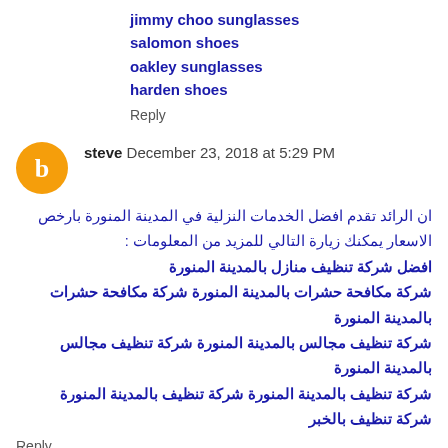jimmy choo sunglasses
salomon shoes
oakley sunglasses
harden shoes
Reply
steve  December 23, 2018 at 5:29 PM
ان الرائد تقدم افضل الخدمات النزلية في المدينة المنورة بارخص الاسعار يمكنك زيارة التالي للمزيد من المعلومات : افضل شركة تنظيف منازل بالمدينة المنورة شركة مكافحة حشرات بالمدينة المنورة شركة مكافحة حشرات بالمدينة المنورة شركة تنظيف مجالس بالمدينة المنورة شركة تنظيف مجالس بالمدينة المنورة شركة تنظيف بالمدينة المنورة شركة تنظيف بالمدينة المنورة شركة تنظيف بالخبر
Reply